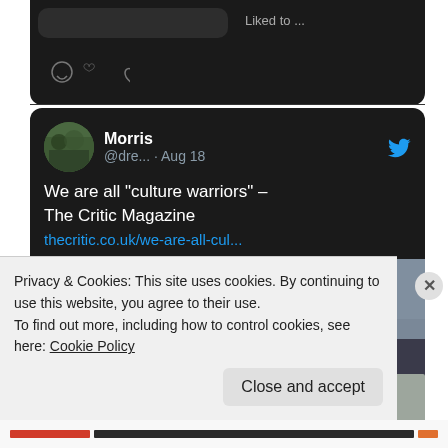[Figure (screenshot): Top fragment of a Twitter/social media card on dark background, showing partial content and icons (comment bubble, heart).]
[Figure (screenshot): Twitter post by user 'Morris' (@dre... · Aug 18) with Twitter bird icon, reading: 'We are all "culture warriors" – The Critic Magazine thecritic.co.uk/we-are-all-cul...' with an attached protest photo showing people holding signs including 'BE MORE QUEER BE MORE GOTH' and 'SUPER INTER' at a demonstration.]
Privacy & Cookies: This site uses cookies. By continuing to use this website, you agree to their use.
To find out more, including how to control cookies, see here: Cookie Policy
Close and accept